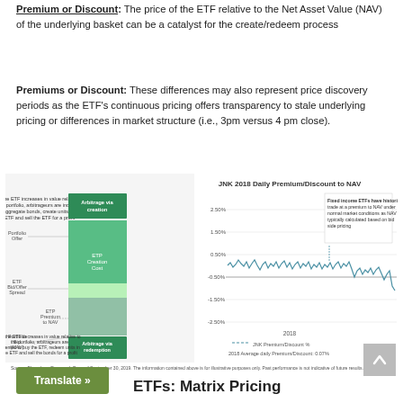Premium or Discount: The price of the ETF relative to the Net Asset Value (NAV) of the underlying basket can be a catalyst for the create/redeem process
Premiums or Discount: These differences may also represent price discovery periods as the ETF's continuous pricing offers transparency to stale underlying pricing or differences in market structure (i.e., 3pm versus 4 pm close).
[Figure (infographic): Diagram showing ETF arbitrage via creation and redemption with green bars showing portfolio offer, ETF Bid/Offer Spread, and Portfolio Bid (NAV), alongside a line chart titled 'JNK 2018 Daily Premium/Discount to NAV' showing premium/discount percentage from 2018, with annotation about fixed income ETFs and 2018 Average daily Premium/Discount: 0.07%]
Source: Bloomberg Finance, L.P., as of September 30, 2019. The information contained above is for illustrative purposes only. Past performance is not indicative of future results.
Translate »
ETFs: Matrix Pricing